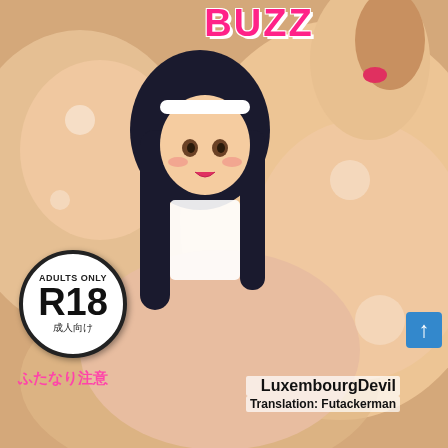BUZZ
[Figure (illustration): Anime-style manga cover illustration showing anime characters in an adult/ecchi style scene. The cover features characters with black hair against a warm skin-toned background.]
ADULTS ONLY
R18
成人向け
ふたなり注意
LuxembourgDevil
Translation: Futackerman